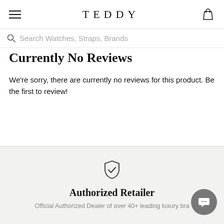TEDDY
Search Watches, Straps, Brands
Currently No Reviews
We're sorry, there are currently no reviews for this product. Be the first to review!
[Figure (illustration): Shield with checkmark icon representing authorized retailer badge]
Authorized Retailer
Official Authorized Dealer of over 40+ leading luxury brands